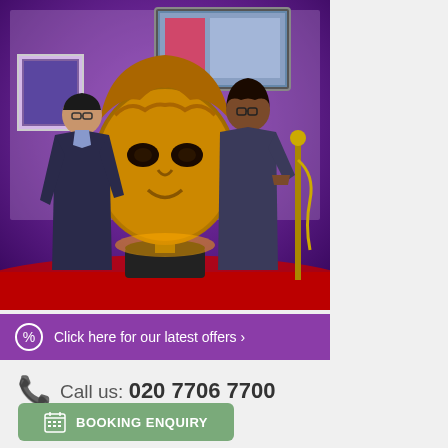[Figure (photo): Two people standing next to a large illuminated gold BAFTA mask trophy on a red carpet in a purple-lit room. A framed picture and a TV screen are visible on the wall behind them.]
Click here for our latest offers ›
Call us: 020 7706 7700
BOOKING ENQUIRY